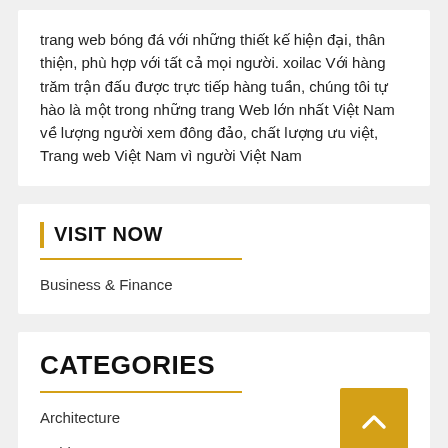trang web bóng đá với những thiết kế hiện đại, thân thiện, phù hợp với tất cả mọi người. xoilac Với hàng trăm trận đấu được trực tiếp hàng tuần, chúng tôi tự hào là một trong những trang Web lớn nhất Việt Nam về lượng người xem đông đảo, chất lượng ưu việt, Trang web Việt Nam vì người Việt Nam
VISIT NOW
Business & Finance
CATEGORIES
Architecture
Cabinets
Home Improvement